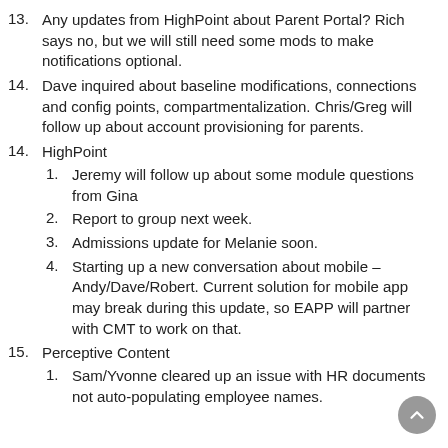Any updates from HighPoint about Parent Portal? Rich says no, but we will still need some mods to make notifications optional.
Dave inquired about baseline modifications, connections and config points, compartmentalization. Chris/Greg will follow up about account provisioning for parents.
14. HighPoint
Jeremy will follow up about some module questions from Gina
Report to group next week.
Admissions update for Melanie soon.
Starting up a new conversation about mobile – Andy/Dave/Robert. Current solution for mobile app may break during this update, so EAPP will partner with CMT to work on that.
15. Perceptive Content
Sam/Yvonne cleared up an issue with HR documents not auto-populating employee names.